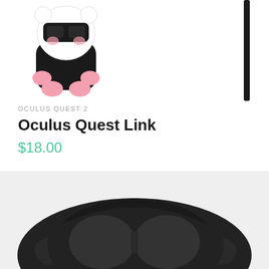[Figure (photo): Partial view of a cute cartoon bear toy figure wearing VR headset and black outfit with pink accents, on white background]
[Figure (photo): Partial view of a black stick or cable on white background, right side of page]
OCULUS QUEST 2
Oculus Quest Link
$18.00
[Figure (photo): Product photo of black Oculus Quest VR headset on light gray background, showing curved headset form]